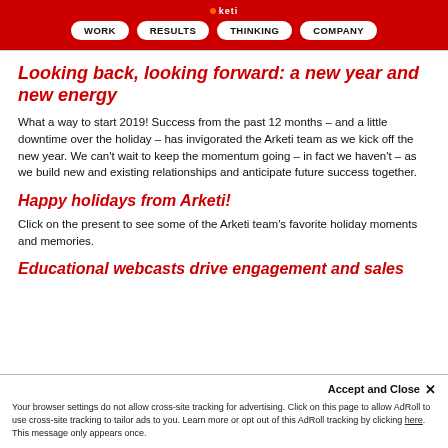WORK | RESULTS | THINKING | COMPANY
Looking back, looking forward: a new year and new energy
What a way to start 2019! Success from the past 12 months – and a little downtime over the holiday – has invigorated the Arketi team as we kick off the new year. We can't wait to keep the momentum going – in fact we haven't – as we build new and existing relationships and anticipate future success together.
Happy holidays from Arketi!
Click on the present to see some of the Arketi team's favorite holiday moments and memories.
Educational webcasts drive engagement and sales
Your browser settings do not allow cross-site tracking for advertising. Click on this page to allow AdRoll to use cross-site tracking to tailor ads to you. Learn more or opt out of this AdRoll tracking by clicking here. This message only appears once.